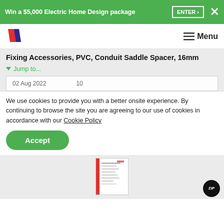Win a $5,000 Electric Home Design package  ENTER ›  ×
[Figure (logo): Red and blue diagonal stripes logo]
≡ Menu
Fixing Accessories, PVC, Conduit Saddle Spacer, 16mm
▼ Jump to...
02 Aug 2022    10
We use cookies to provide you with a better onsite experience. By continuing to browse the site you are agreeing to our use of cookies in accordance with our Cookie Policy
Accept
[Figure (screenshot): Thumbnail of a document page with red left border stripe]